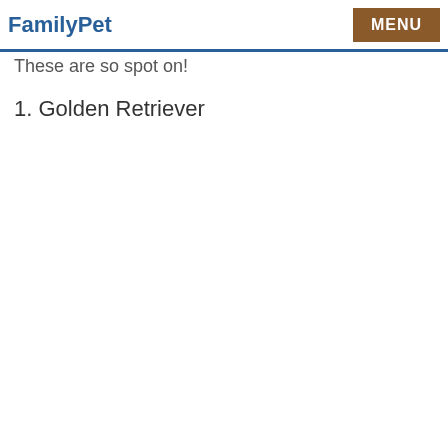FamilyPet   MENU
These are so spot on!
1. Golden Retriever